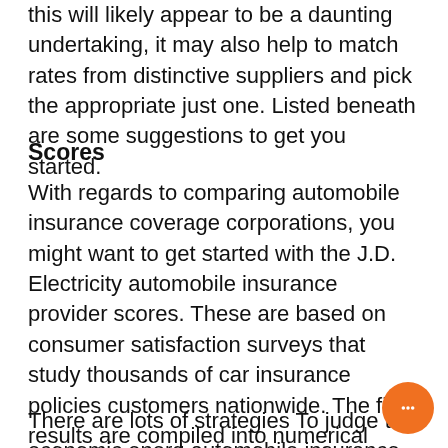this will likely appear to be a daunting undertaking, it may also help to match rates from distinctive suppliers and pick the appropriate just one. Listed beneath are some suggestions to get you started.
Scores
With regards to comparing automobile insurance coverage corporations, you might want to get started with the J.D. Electricity automobile insurance provider scores. These are based on consumer satisfaction surveys that study thousands of car insurance policies customers nationwide. The final results are compiled into numerical scores that represent the businesses' average customer satisfaction rating. These rankings are released annually, and the most beneficial auto insurance firms in Every single group are awarded gold medals. But how Are you aware of if the businesses you are thinking about are any good?
There are lots of strategies To judge the economic energ automobile insurance policies corporations. Firstly, you